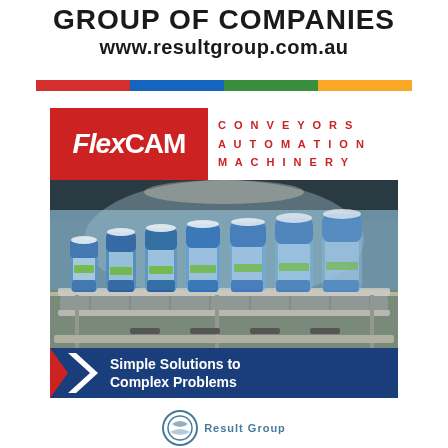Group of Companies
www.resultgroup.com.au
[Figure (infographic): Four-color horizontal bar: red, blue, green, gold/yellow segments]
[Figure (logo): FlexCAM advertisement with logo (red background, white text 'FlexCAM'), tagline 'CONVEYORS AUTOMATION MACHINERY' in red letters on white background, photo of bottles on industrial conveyor belt machinery, blue bottom banner with chevron arrow and text 'Simple Solutions to Complex Problems']
[Figure (logo): Partial bottom logo — circular emblem in blue, partially visible]